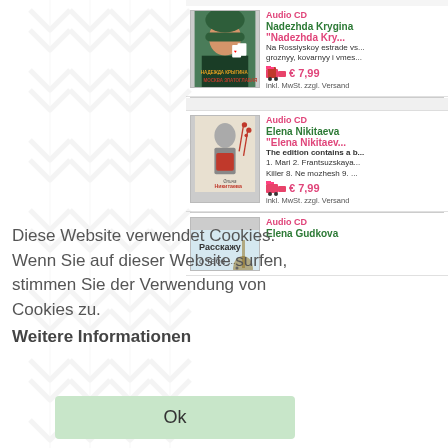[Figure (screenshot): Product listing page for audio CDs on a German e-commerce website, showing 3 product entries with cover images, titles, authors, descriptions and prices in Euros. A cookie consent overlay is visible with German text and an Ok button.]
Audio CD
Nadezhda Krygina
"Nadezhda Kry...
Na Rossiyskoy estrade vs... groznyy, kovarnyy i vmes...
€ 7,99
inkl. MwSt. zzgl. Versand
Audio CD
Elena Nikitaeva
"Elena Nikitaev...
The edition contains a b...
1. Mari 2. Frantsuzskaya... Killer 8. Ne mozhesh 9. ...
€ 7,99
inkl. MwSt. zzgl. Versand
Diese Website verwendet Cookies. Wenn Sie auf dieser Website surfen, stimmen Sie der Verwendung von Cookies zu.
Weitere Informationen
Ok
Audio CD
Elena Gudkova